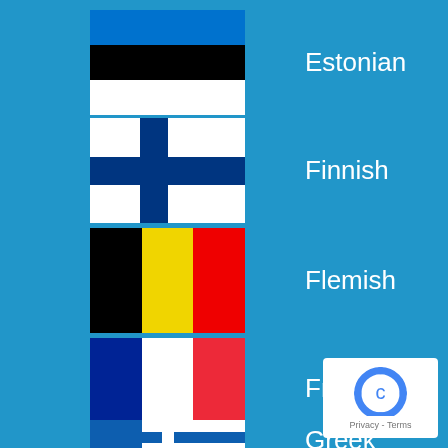[Figure (illustration): Estonian flag - three horizontal stripes: blue, black, white]
Estonian
[Figure (illustration): Finnish flag - white background with blue Nordic cross]
Finnish
[Figure (illustration): Belgian flag - three vertical stripes: black, yellow, red]
Flemish
[Figure (illustration): French flag - three vertical stripes: blue, white, red]
French
[Figure (illustration): Greek flag - blue and white horizontal stripes with cross in upper left]
Greek